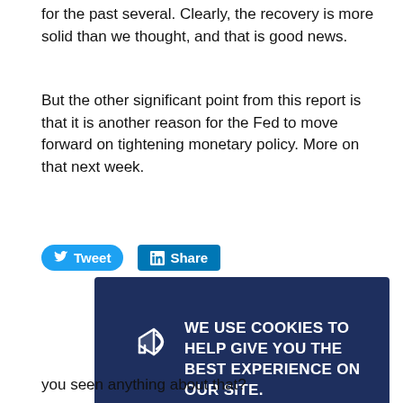for the past several. Clearly, the recovery is more solid than we thought, and that is good news.
But the other significant point from this report is that it is another reason for the Fed to move forward on tightening monetary policy. More on that next week.
[Figure (screenshot): Social sharing buttons: Tweet (Twitter) and Share (LinkedIn)]
[Figure (screenshot): Cookie consent overlay with dark blue background. Text: WE USE COOKIES TO HELP GIVE YOU THE BEST EXPERIENCE ON OUR SITE. If you're okay with that, keep browsing. Read our cookie policy here. Has a megaphone icon and a close (X) button.]
you seen anything about that?